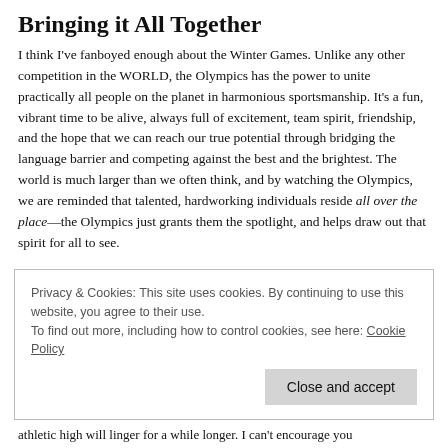Bringing it All Together
I think I've fanboyed enough about the Winter Games. Unlike any other competition in the WORLD, the Olympics has the power to unite practically all people on the planet in harmonious sportsmanship. It's a fun, vibrant time to be alive, always full of excitement, team spirit, friendship, and the hope that we can reach our true potential through bridging the language barrier and competing against the best and the brightest. The world is much larger than we often think, and by watching the Olympics, we are reminded that talented, hardworking individuals reside all over the place—the Olympics just grants them the spotlight, and helps draw out that spirit for all to see.
Privacy & Cookies: This site uses cookies. By continuing to use this website, you agree to their use.
To find out more, including how to control cookies, see here: Cookie Policy
athletic high will linger for a while longer. I can't encourage you